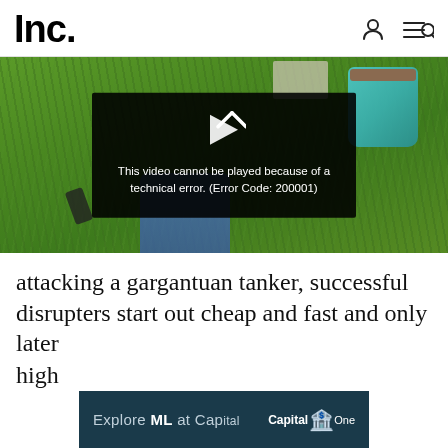Inc.
[Figure (screenshot): Video player showing a grass background with items (laptop, bag, phone, jeans) viewed from above. A black overlay in the center displays a broken play icon and the error message: 'This video cannot be played because of a technical error. (Error Code: 200001)']
attacking a gargantuan tanker, successful disrupters start out cheap and fast and only later high
[Figure (other): Advertisement banner: 'Explore ML at Cap al' with Capital One logo on dark teal background]